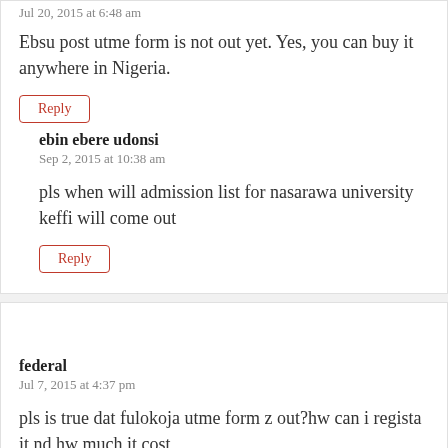Jul 20, 2015 at 6:48 am
Ebsu post utme form is not out yet. Yes, you can buy it anywhere in Nigeria.
Reply
ebin ebere udonsi
Sep 2, 2015 at 10:38 am
pls when will admission list for nasarawa university keffi will come out
Reply
federal
Jul 7, 2015 at 4:37 pm
pls is true dat fulokoja utme form z out?hw can i regista it nd hw much it cost